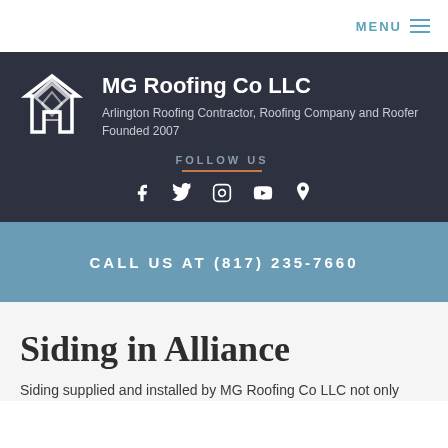MENU
MG Roofing Co LLC
Arlington Roofing Contractor, Roofing Company and Roofer
Founded 2007
FOLLOW US
CALL US AT (817) 235-7660
Siding in Alliance
Siding supplied and installed by MG Roofing Co LLC not only